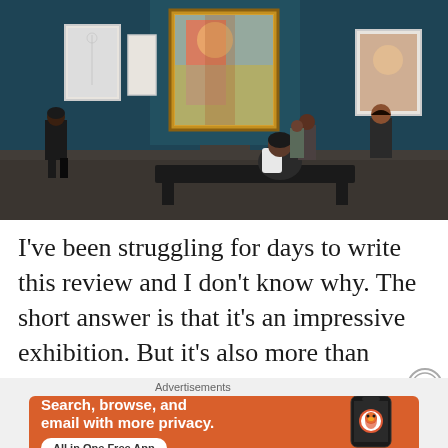[Figure (photo): Interior of a museum gallery with teal/dark blue walls. Several visitors look at large paintings hung on the walls. A person sits on a low black bench in the center foreground viewed from behind. Natural and artificial lighting illuminate the space.]
I've been struggling for days to write this review and I don't know why. The short answer is that it's an impressive exhibition. But it's also more than
[Figure (screenshot): DuckDuckGo advertisement banner with orange background. Text reads: Search, browse, and email with more privacy. All in One Free App. Shows a smartphone with the DuckDuckGo duck logo.]